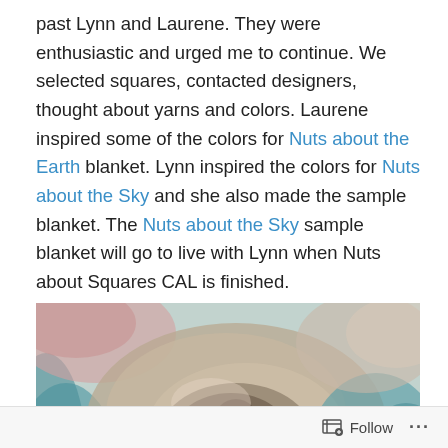past Lynn and Laurene. They were enthusiastic and urged me to continue. We selected squares, contacted designers, thought about yarns and colors. Laurene inspired some of the colors for Nuts about the Earth blanket. Lynn inspired the colors for Nuts about the Sky and she also made the sample blanket. The Nuts about the Sky sample blanket will go to live with Lynn when Nuts about Squares CAL is finished.
[Figure (photo): Close-up photograph of a colorful crocheted or knitted blanket with teal, blue, pink, and neutral tones, folded loosely showing textured squares.]